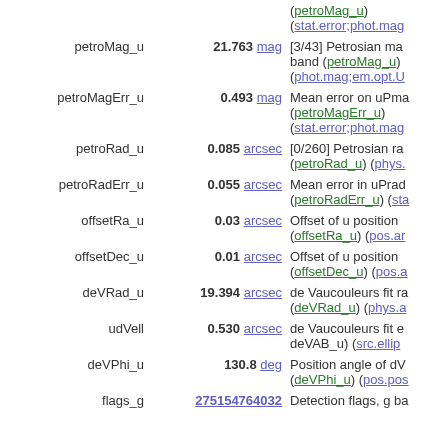| Name | Value | Description |
| --- | --- | --- |
| petroMag_u | 21.763 mag | [3/43] Petrosian mag in u band (petroMag_u) (phot.mag;em.opt.U) |
| petroMagErr_u | 0.493 mag | Mean error on uPmag (petroMagErr_u) (stat.error;phot.mag) |
| petroRad_u | 0.085 arcsec | [0/260] Petrosian radius (petroRad_u) (phys.) |
| petroRadErr_u | 0.055 arcsec | Mean error in uPrad (petroRadErr_u) (sta) |
| offsetRa_u | 0.03 arcsec | Offset of u position (offsetRa_u) (pos.ar) |
| offsetDec_u | 0.01 arcsec | Offset of u position (offsetDec_u) (pos.a) |
| deVRad_u | 19.394 arcsec | de Vaucouleurs fit ra (deVRad_u) (phys.a) |
| udVell | 0.530 arcsec | de Vaucouleurs fit e deVAB_u) (src.ellip) |
| deVPhi_u | 130.8 deg | Position angle of dV (deVPhi_u) (pos.pos) |
| flags_g | 275154764032 | Detection flags, g ba |